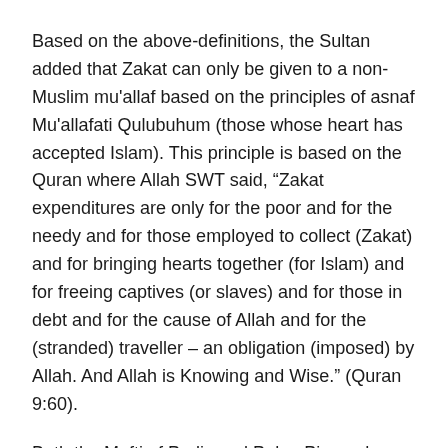Based on the above-definitions, the Sultan added that Zakat can only be given to a non-Muslim mu'allaf based on the principles of asnaf Mu'allafati Qulubuhum (those whose heart has accepted Islam). This principle is based on the Quran where Allah SWT said, “Zakat expenditures are only for the poor and for the needy and for those employed to collect (Zakat) and for bringing hearts together (for Islam) and for freeing captives (or slaves) and for those in debt and for the cause of Allah and for the (stranded) traveller – an obligation (imposed) by Allah. And Allah is Knowing and Wise.” (Quran 9:60).
Both the Mufti of Perlis and Pulau Pinang have made a statement supporting this. In a television interview the Mufti of Perlis said that Perlis had issued a fatwa to enable non-Muslims to receive tithes under the concept of asnaf